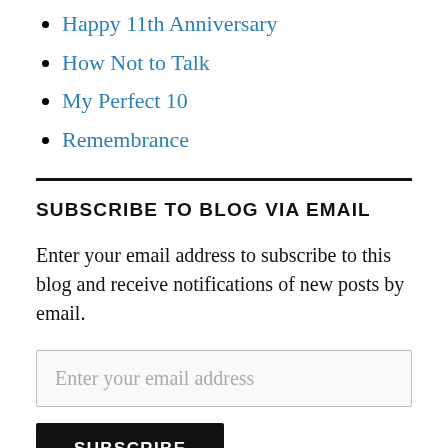Happy 11th Anniversary
How Not to Talk
My Perfect 10
Remembrance
SUBSCRIBE TO BLOG VIA EMAIL
Enter your email address to subscribe to this blog and receive notifications of new posts by email.
Enter your email address
SUBSCRIBE